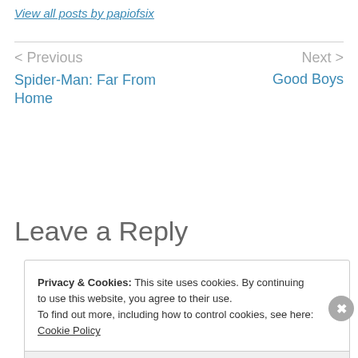View all posts by papiofsix
< Previous
Spider-Man: Far From Home
Next >
Good Boys
Leave a Reply
Privacy & Cookies: This site uses cookies. By continuing to use this website, you agree to their use.
To find out more, including how to control cookies, see here: Cookie Policy
Close and accept
AIDROIT 1155 AD